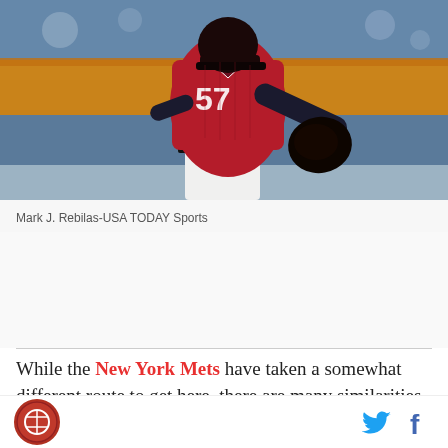[Figure (photo): Baseball pitcher wearing red Arizona Diamondbacks uniform (number 57) in mid-pitch motion, holding a black glove, with blurred stadium background in orange and blue tones.]
Mark J. Rebilas-USA TODAY Sports
While the New York Mets have taken a somewhat different route to get here, there are many similarities